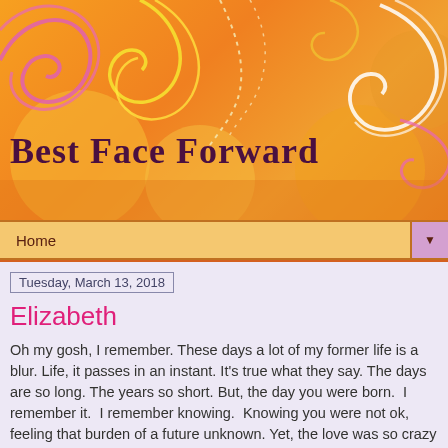[Figure (illustration): Orange decorative blog header banner with colorful swirling arabesque patterns in white, yellow, and pink/magenta on an orange gradient background.]
Best Face Forward
Home ▼
Tuesday, March 13, 2018
Elizabeth
Oh my gosh, I remember. These days a lot of my former life is a blur. Life, it passes in an instant. It's true what they say. The days are so long. The years so short. But, the day you were born.  I remember it.  I remember knowing.  Knowing you were not ok, feeling that burden of a future unknown. Yet, the love was so crazy strong, so overwhelming. That love would carry me, us, to the next step- to the future-to whatever it was, whatever it will be.  I held you, my third and